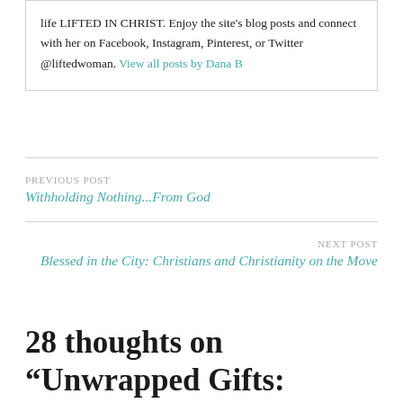life LIFTED IN CHRIST. Enjoy the site's blog posts and connect with her on Facebook, Instagram, Pinterest, or Twitter @liftedwoman. View all posts by Dana B
PREVIOUS POST
Withholding Nothing...From God
NEXT POST
Blessed in the City: Christians and Christianity on the Move
28 thoughts on “Unwrapped Gifts: Realizing and Using